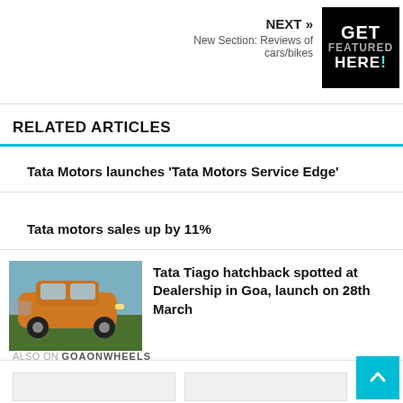NEXT » New Section: Reviews of cars/bikes
[Figure (logo): GET FEATURED HERE! promotional badge in black and white]
RELATED ARTICLES
Tata Motors launches 'Tata Motors Service Edge'
Tata motors sales up by 11%
[Figure (photo): Orange Tata Tiago hatchback car at dealership]
Tata Tiago hatchback spotted at Dealership in Goa, launch on 28th March
ALSO ON GOAONWHEELS